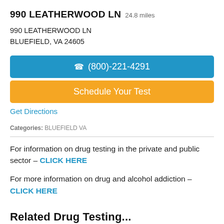990 LEATHERWOOD LN 24.8 miles
990 LEATHERWOOD LN
BLUEFIELD, VA 24605
(800)-221-4291
Schedule Your Test
Get Directions
Categories: BLUEFIELD VA
For information on drug testing in the private and public sector – CLICK HERE
For more information on drug and alcohol addiction – CLICK HERE
Related Drug Testing...